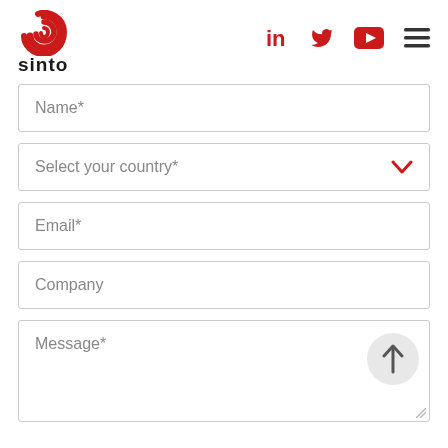[Figure (logo): Sinto company logo with red swirl graphic and 'sinto' text below]
Name*
Select your country*
Email*
Company
Message*